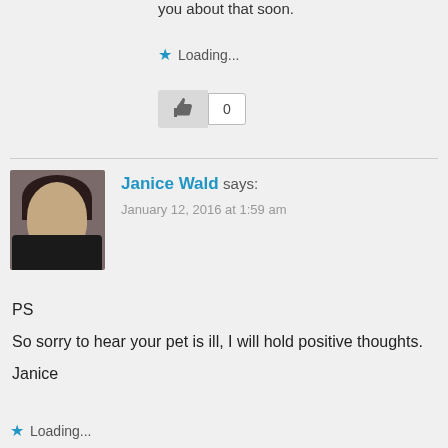you about that soon.
★ Loading...
[Figure (other): Thumbs up like button with count 0]
Janice Wald says:
January 12, 2016 at 1:59 am
PS
So sorry to hear your pet is ill, I will hold positive thoughts.
Janice
★ Loading...